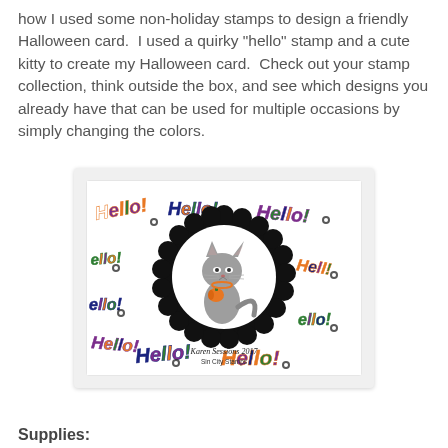how I used some non-holiday stamps to design a friendly Halloween card.  I used a quirky "hello" stamp and a cute kitty to create my Halloween card.  Check out your stamp collection, think outside the box, and see which designs you already have that can be used for multiple occasions by simply changing the colors.
[Figure (photo): A handmade Halloween greeting card featuring a white background covered with colorful 'Hello!' text in orange, purple, green and black in various fonts. In the center is a black scalloped-edge circle frame containing a white circle with an illustration of a gray cat holding a small pumpkin. At the bottom of the card is handwritten text 'Karen Sessions 2017' and below it 'Sin City Stamps'.]
Supplies: